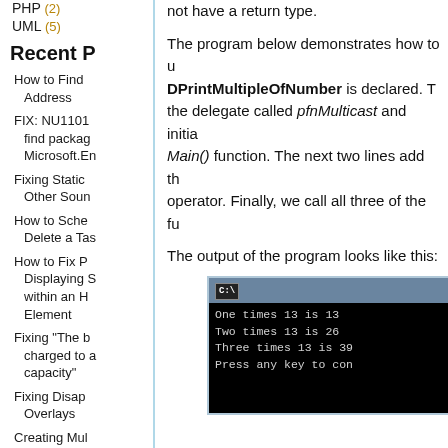PHP (2)
UML (5)
Recent P
How to Find Address
FIX: NU1101 find package Microsoft.En
Fixing Static Other Sound
How to Sche Delete a Task
How to Fix P Displaying S within an HT Element
Fixing "The b charged to a capacity"
Fixing Disap Overlays
Creating Mul Delegates in
Using C# De Static and In
not have a return type.
The program below demonstrates how to DPrintMultipleOfNumber is declared. T the delegate called pfnMulticast and initia Main() function. The next two lines add th operator. Finally, we call all three of the fu
The output of the program looks like this:
[Figure (screenshot): Console window (C:\) showing output: 'One times 13 is 13', 'Two times 13 is 26', 'Three times 13 is 39', 'Press any key to con']